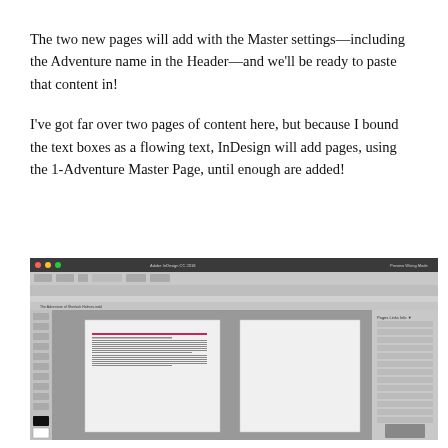The two new pages will add with the Master settings—including the Adventure name in the Header—and we'll be ready to paste that content in!
I've got far over two pages of content here, but because I bound the text boxes as a flowing text, InDesign will add pages, using the 1-Adventure Master Page, until enough are added!
[Figure (screenshot): Screenshot of Adobe InDesign CC application window showing a document layout with toolbars, a page panel on the right, and a document page in the center with partially visible text content.]